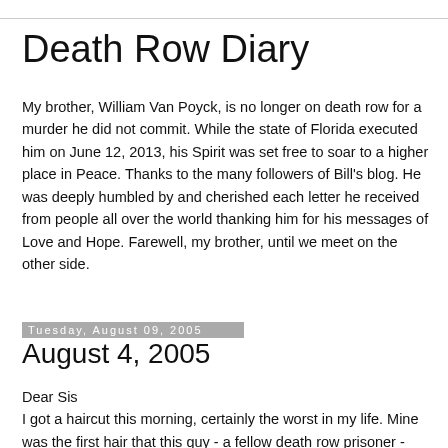Death Row Diary
My brother, William Van Poyck, is no longer on death row for a murder he did not commit. While the state of Florida executed him on June 12, 2013, his Spirit was set free to soar to a higher place in Peace. Thanks to the many followers of Bill's blog. He was deeply humbled by and cherished each letter he received from people all over the world thanking him for his messages of Love and Hope. Farewell, my brother, until we meet on the other side.
Tuesday, August 09, 2005
August 4, 2005
Dear Sis
I got a haircut this morning, certainly the worst in my life. Mine was the first hair that this guy - a fellow death row prisoner - had ever cut, and it shows! Rob, our regular barber, cut his last prisoner the first time and his death...